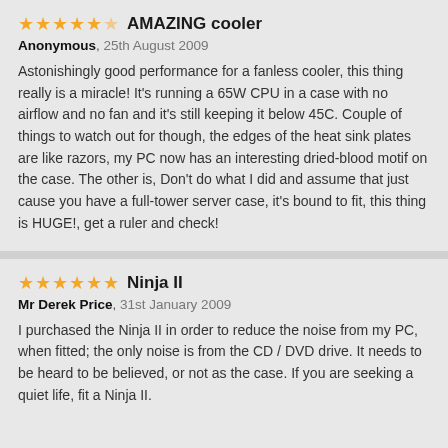★★★★★½ AMAZING cooler
Anonymous, 25th August 2009
Astonishingly good performance for a fanless cooler, this thing really is a miracle! It's running a 65W CPU in a case with no airflow and no fan and it's still keeping it below 45C. Couple of things to watch out for though, the edges of the heat sink plates are like razors, my PC now has an interesting dried-blood motif on the case. The other is, Don't do what I did and assume that just cause you have a full-tower server case, it's bound to fit, this thing is HUGE!, get a ruler and check!
★★★★★★ Ninja II
Mr Derek Price, 31st January 2009
I purchased the Ninja II in order to reduce the noise from my PC, when fitted; the only noise is from the CD / DVD drive. It needs to be heard to be believed, or not as the case. If you are seeking a quiet life, fit a Ninja II.